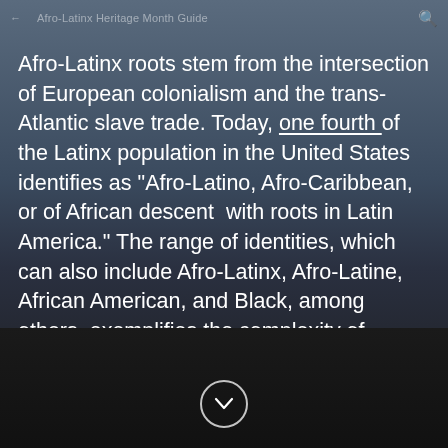Afro-Latinx roots stem from the intersection of European colonialism and the trans-Atlantic slave trade. Today, one fourth of the Latinx population in the United States identifies as "Afro-Latino, Afro-Caribbean, or of African descent  with roots in Latin America." The range of identities, which can also include Afro-Latinx, Afro-Latine, African American, and Black, among others, exemplifies the complexity of experiences within this group.